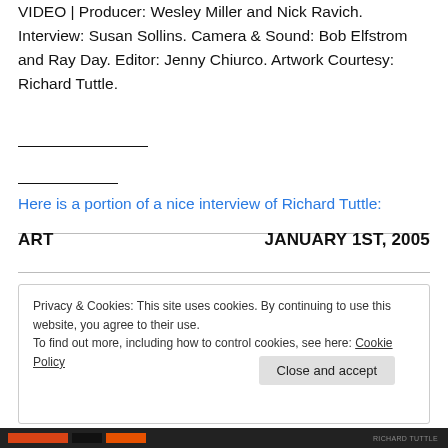VIDEO | Producer: Wesley Miller and Nick Ravich. Interview: Susan Sollins. Camera & Sound: Bob Elfstrom and Ray Day. Editor: Jenny Chiurco. Artwork Courtesy: Richard Tuttle.
Here is a portion of a nice interview of Richard Tuttle:
ART    JANUARY 1ST, 2005
Privacy & Cookies: This site uses cookies. By continuing to use this website, you agree to their use. To find out more, including how to control cookies, see here: Cookie Policy
Close and accept